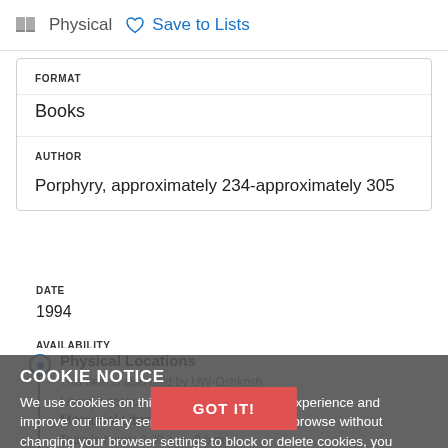Physical   Save to Lists
FORMAT
Books
AUTHOR
Porphyry, approximately 234-approximately 305
DATE
1994
AVAILABILITY
Physical Locations
This item is also held by UW-Oshkosh
Library Location
Memorial Library
Today's hours: 8:30 a.m.-9 p.m.
COOKIE NOTICE
We use cookies on this site to enhance your experience and improve our library services. By continuing to browse without changing your browser settings to block or delete cookies, you agree to the storing of cookies and related technologies on your device. UW–Madison Privacy Notice
GOT IT!